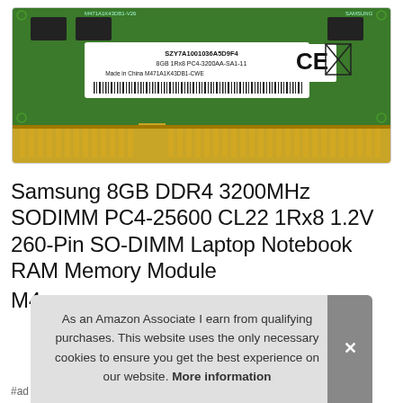[Figure (photo): Samsung 8GB DDR4 SODIMM RAM module, green PCB with gold edge connector, white label reading: SZY7A1001036A5D9F4 2010, 8GB 1Rx8 PC4-3200AA-SA1-11, Made in China M471A1K43DB1-CWE, with CE and WEEE certification marks]
Samsung 8GB DDR4 3200MHz SODIMM PC4-25600 CL22 1Rx8 1.2V 260-Pin SO-DIMM Laptop Notebook RAM Memory Module
M4...
As an Amazon Associate I earn from qualifying purchases. This website uses the only necessary cookies to ensure you get the best experience on our website. More information
#ad